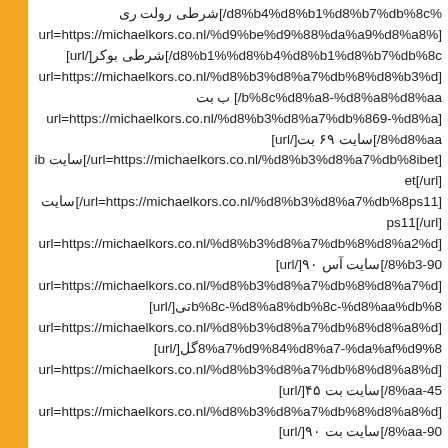%d8%b4%d8%b1%d8%b7%db%8c/]شرطی رولت ری [url=https://michaelkors.co.nl/%d9%be%d9%88%da%a9%d8%b1-%d8%b4%d8%b1%d8%b7%db%8c/]شرطی بوکر[/url] [url=https://michaelkors.co.nl/%d8%b3%d8%a7%db%8c%d8%aa-%d8%a8%d8%aa-%d8%b3%db%8c%d8%a8-%d8%a8%d8%aa%d8%aa-%d8%a8%d8%aa%d8%aa-%d8%a8%d8%aa%d8%aa/] ب بت [url=https://michaelkors.co.nl/%d8%b3%d8%a7%db%8c%d8%aa-%d8%a8%d8%aa-69-%d8%a8%d8%aa%d8%aa-%d8%a8%d8%aa/]سایت ۶۹ بت[/url] [url=https://michaelkors.co.nl/%d8%b3%d8%a7%db%8c%d8%aa-ibet/]سایت ibet[/url] [url=https://michaelkors.co.nl/%d8%b3%d8%a7%db%8c%d8%aa-ps11/]ps11 سایت[/url] [url=https://michaelkors.co.nl/%d8%b3%d8%a7%db%8c%d8%aa-%d8%a2%d8%b3-90/]سایت آس ۹۰[/url] [url=https://michaelkors.co.nl/%d8%b3%d8%a7%db%8c%d8%aa-%d8%a8%d8%aa%d8%aa-%d8%a8%d8%aa%d8%aa-%d8%a8%d8%aa%d8%aa-%d8%a8%d8%aa%d8%aa-%d8%a8%d8%aa%d8%aa%d8%aa/]بی تی[/url] [url=https://michaelkors.co.nl/%d8%b3%d8%a7%db%8c%d8%aa-%d8%a8%d8%aa%d8%aa-%d8%a8%d8%a7%d9%84%d8%a7-%da%af%d9%84/]گل[/url] [url=https://michaelkors.co.nl/%d8%b3%d8%a7%db%8c%d8%aa-%d8%a8%d8%aa%d8%aa-%d8%a8%d8%aa%d8%aa-%d8%a8%d8%aa%d8%aa-%d8%a8%d8%aa%d8%aa-%d8%a8%d8%aa%d8%aa-%45/]سایت بت ۴۵[/url] [url=https://michaelkors.co.nl/%d8%b3%d8%a7%db%8c%d8%aa-%d8%a8%d8%aa%d8%aa-%d8%a8%d8%aa%d8%aa-%d8%a8%d8%aa%d8%aa-%d8%a8%d8%aa%d8%aa-%d8%a8%d8%aa%d8%aa-90/]سایت بت ۹۰[/url] [url=https://michaelkors.co.nl/%d8%b3%d8%a7%db%8c%d8%aa%d8%a8%d8%aa%d8%aa...